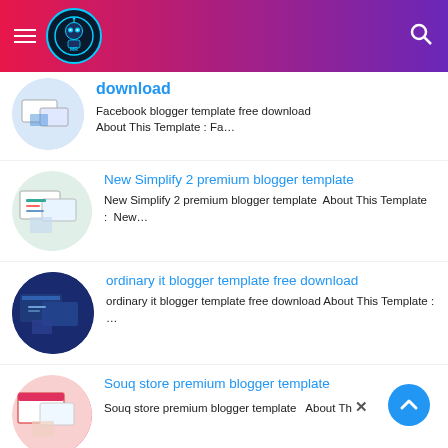MR [logo] header navigation bar
download — Facebook blogger template free download About This Template : Fa…
New Simplify 2 premium blogger template — New Simplify 2 premium blogger template  About This Template :  New…
ordinary it blogger template free download — ordinary it blogger template free download About This Template :  …
Souq store premium blogger template — Souq store premium blogger template  About Th